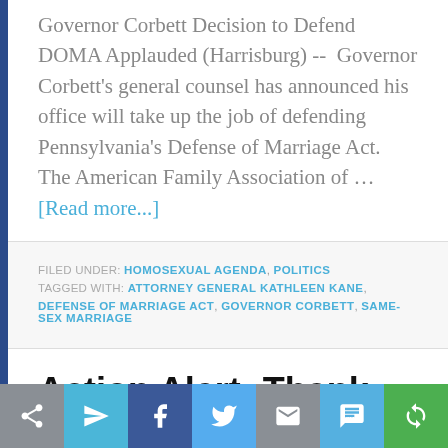Governor Corbett Decision to Defend DOMA Applauded (Harrisburg) -- Governor Corbett's general counsel has announced his office will take up the job of defending Pennsylvania's Defense of Marriage Act. The American Family Association of … [Read more...]
FILED UNDER: HOMOSEXUAL AGENDA, POLITICS
TAGGED WITH: ATTORNEY GENERAL KATHLEEN KANE, DEFENSE OF MARRIAGE ACT, GOVERNOR CORBETT, SAME-SEX MARRIAGE
Action Alert: Thank
[Figure (infographic): Social sharing bar with icons: share, send (paper plane), Facebook, Twitter, email, SMS, and a circular arrow icon. Buttons colored gray, light blue, dark blue, light blue, gray, blue, and green respectively.]